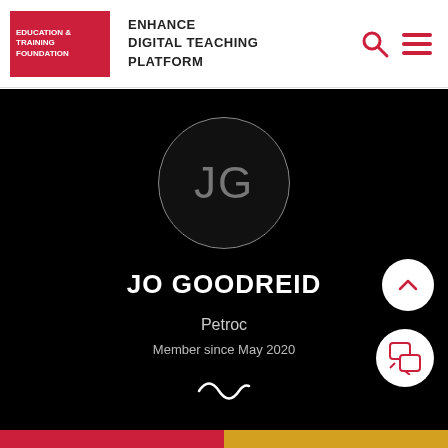[Figure (logo): Education & Training Foundation logo in red box]
ENHANCE DIGITAL TEACHING PLATFORM
[Figure (screenshot): User profile page with dark background showing JG initials avatar circle]
JO GOODREID
Petroc
Member since May 2020